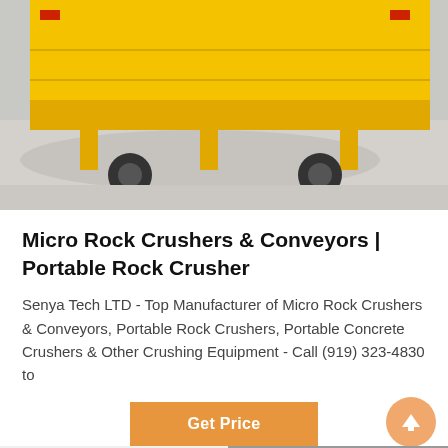[Figure (photo): Yellow heavy truck/equipment trailer viewed from behind in a warehouse or industrial facility]
Micro Rock Crushers & Conveyors | Portable Rock Crusher
Senya Tech LTD - Top Manufacturer of Micro Rock Crushers & Conveyors, Portable Rock Crushers, Portable Concrete Crushers & Other Crushing Equipment - Call (919) 323-4830 to
[Figure (photo): Industrial building or equipment partially visible at bottom right]
Leave Message | Chat Online